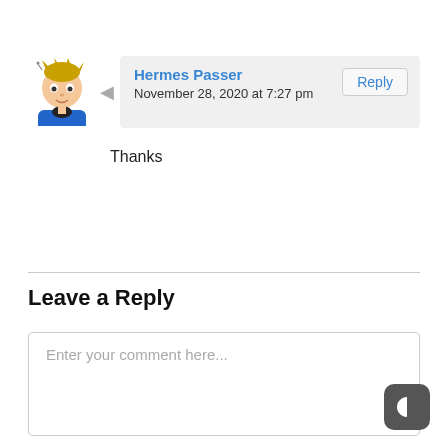Hermes Passer
November 28, 2020 at 7:27 pm
Reply
Thanks
Leave a Reply
Enter your comment here...